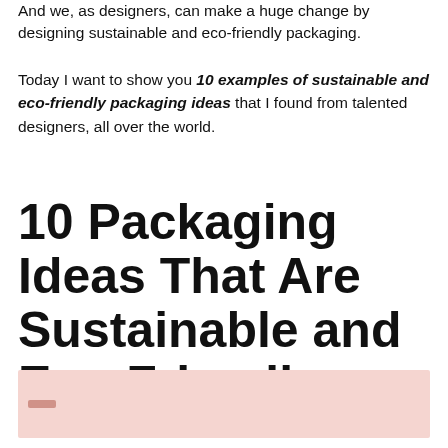And we, as designers, can make a huge change by designing sustainable and eco-friendly packaging.
Today I want to show you 10 examples of sustainable and eco-friendly packaging ideas that I found from talented designers, all over the world.
10 Packaging Ideas That Are Sustainable and Eco-Friendly
[Figure (other): Pink/blush colored rectangular banner box with a small dark accent element on the left side]